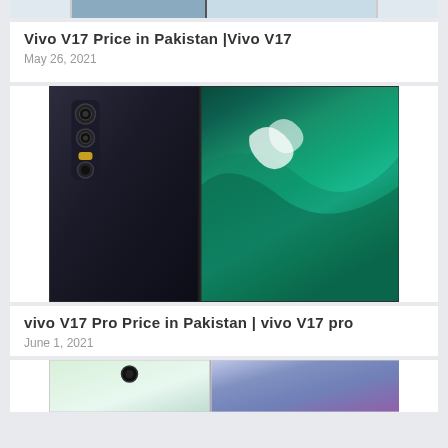[Figure (photo): Top partial image of a Vivo V17 smartphone (cropped, only top portion visible)]
Vivo V17 Price in Pakistan |Vivo V17
May 26, 2021
[Figure (photo): Vivo V17 Pro smartphone shown from back and front side by side. Back shows triple camera setup. Front screen displays aerial ocean/wave photography with teal/green colors.]
vivo V17 Pro Price in Pakistan | vivo V17 pro
June 1, 2021
[Figure (photo): Bottom partial image of another Vivo smartphone (cropped), showing back and front with light green and purple/blue colors.]